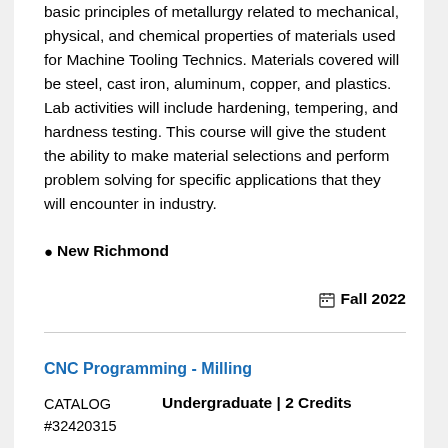basic principles of metallurgy related to mechanical, physical, and chemical properties of materials used for Machine Tooling Technics. Materials covered will be steel, cast iron, aluminum, copper, and plastics. Lab activities will include hardening, tempering, and hardness testing. This course will give the student the ability to make material selections and perform problem solving for specific applications that they will encounter in industry.
📍 New Richmond
🗓 Fall 2022
CNC Programming - Milling
CATALOG #32420315
Undergraduate | 2 Credits